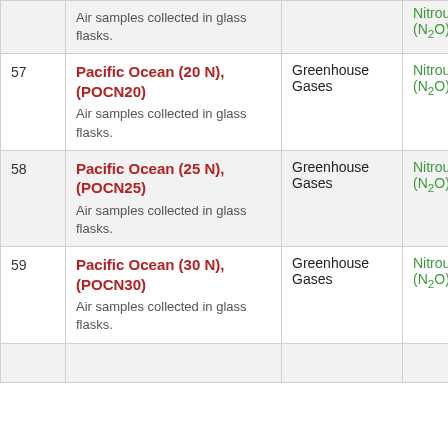| # | Site Name / Description | Category | Gas |  |
| --- | --- | --- | --- | --- |
|  | Air samples collected in glass flasks. |  | Nitrous Oxide (N₂O) |  |
| 57 | Pacific Ocean (20 N), (POCN20)
Air samples collected in glass flasks. | Greenhouse Gases | Nitrous Oxide (N₂O) | F |
| 58 | Pacific Ocean (25 N), (POCN25)
Air samples collected in glass flasks. | Greenhouse Gases | Nitrous Oxide (N₂O) | F |
| 59 | Pacific Ocean (30 N), (POCN30)
Air samples collected in glass flasks. | Greenhouse Gases | Nitrous Oxide (N₂O) | F |
|  |  |  |  |  |